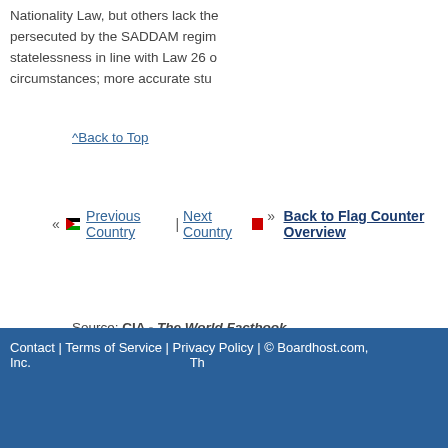Nationality Law, but others lack the... persecuted by the SADDAM regime... statelessness in line with Law 26 o... circumstances; more accurate stu...
^Back to Top
« [flag] Previous Country | Next Country [flag] » Back to Flag Counter Overview
Source: CIA - The World Factbook
Contact | Terms of Service | Privacy Policy | © Boardhost.com, Inc.  Th...